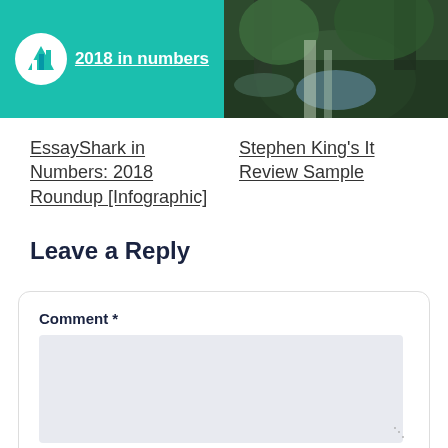[Figure (infographic): EssayShark 2018 in numbers infographic banner with teal background and circular badge]
[Figure (photo): Forest/nature photo showing a stream through moss-covered rocks and trees]
EssayShark in Numbers: 2018 Roundup [Infographic]
Stephen King's It Review Sample
Leave a Reply
Comment *
Name *
Email *